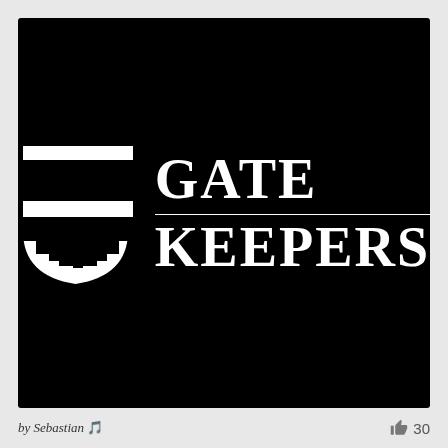[Figure (logo): Gate Keepers logo on black background: a white heraldic shield with vertical bars and a horizontal crossbar (cross/gate design), beside bold white serif text reading GATE KEEPERS with a horizontal line dividing the two words]
by Sebastian 🎵
30